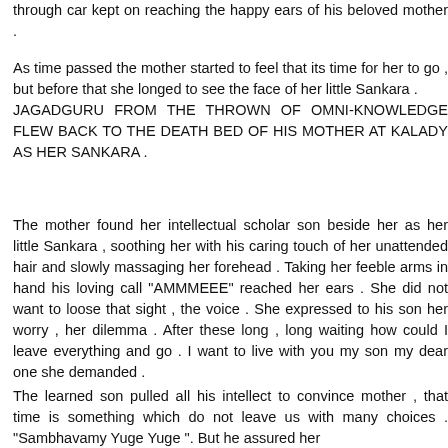through car kept on reaching the happy ears of his beloved mother .
As time passed the mother started to feel that its time for her to go , but before that she longed to see the face of her little Sankara . JAGADGURU FROM THE THROWN OF OMNI-KNOWLEDGE FLEW BACK TO THE DEATH BED OF HIS MOTHER AT KALADY AS HER SANKARA .
The mother found her intellectual scholar son beside her as her little Sankara , soothing her with his caring touch of her unattended hair and slowly massaging her forehead . Taking her feeble arms in hand his loving call "AMMMEEE" reached her ears . She did not want to loose that sight , the voice . She expressed to his son her worry , her dilemma . After these long , long waiting how could I leave everything and go . I want to live with you my son my dear one she demanded .
The learned son pulled all his intellect to convince mother , that time is something which do not leave us with many choices . "Sambhavamy Yuge Yuge ". But he assured her